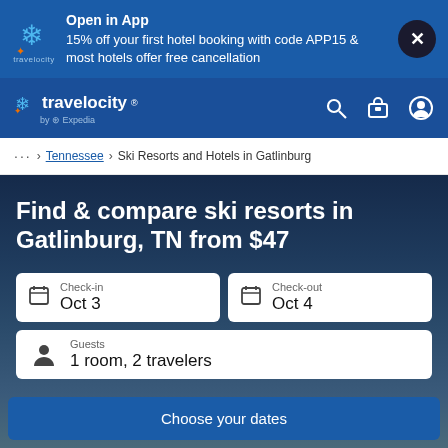[Figure (screenshot): Travelocity app banner with logo, promotional text, and close button]
[Figure (screenshot): Travelocity navigation bar with logo, search, luggage, and account icons]
... > Tennessee > Ski Resorts and Hotels in Gatlinburg
Find & compare ski resorts in Gatlinburg, TN from $47
Check-in Oct 3
Check-out Oct 4
Guests 1 room, 2 travelers
Choose your dates